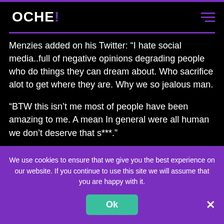OCHE!
Menzies added on his Twitter: “I hate social media..full of negative opinions degrading people who do things they can dream about. Who sacrifice alot to get where they are. Why we so jealous man.
“BTW this isn’t me most of people have been amazing to me. A mean In general were all human we don’t deserve that s***.”
We use cookies to ensure that we give you the best experience on our website. If you continue to use this site we will assume that you are happy with it.